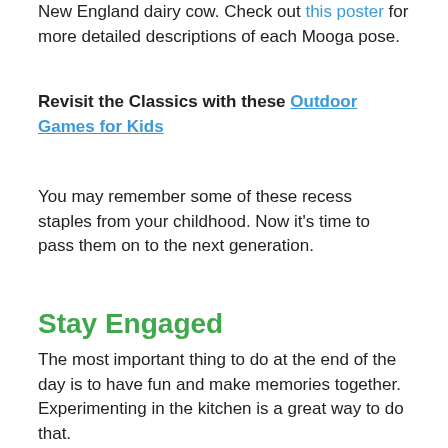New England dairy cow. Check out this poster for more detailed descriptions of each Mooga pose.
Revisit the Classics with these Outdoor Games for Kids
You may remember some of these recess staples from your childhood. Now it's time to pass them on to the next generation.
Stay Engaged
The most important thing to do at the end of the day is to have fun and make memories together. Experimenting in the kitchen is a great way to do that.
Make Butter, Yogurt, and Ice Cream
Make your own dairy treats in five steps or less. You can watch our video with Pat Patriot to see how easy and fun it is to make your own ice cream.